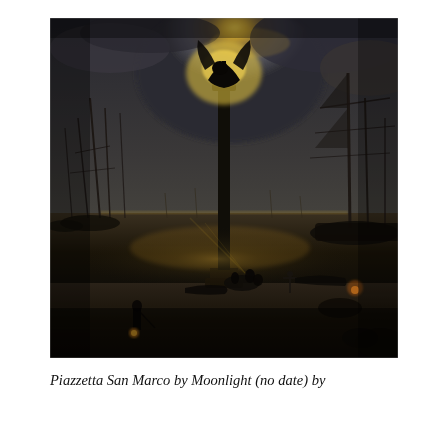[Figure (photo): A dark, atmospheric oil painting depicting the Piazzetta San Marco in Venice by moonlight. A tall column topped with a winged lion statue stands silhouetted against a glowing, luminous sky. Ships with masts are visible on both sides in the lagoon behind. In the foreground, a lone figure walks carrying a lantern, and small groups of people are gathered near the base of the column. The water reflects moonlight in golden shimmers. The overall palette is dark brown, grey, and golden yellow.]
Piazzetta San Marco by Moonlight (no date) by